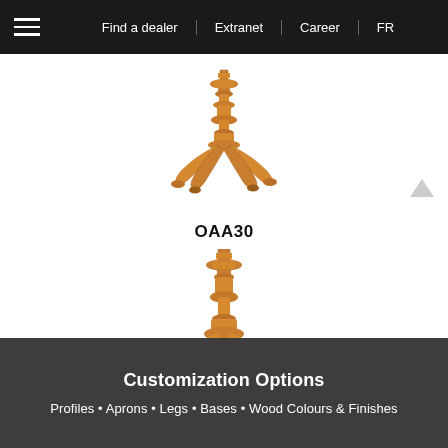Find a dealer | Extranet | Career | FR
[Figure (photo): 3D rendered wooden pedestal table base with four curved legs and turned column post, model OAA30, in golden oak finish, viewed from above at angle]
OAA30
[Figure (photo): 3D rendered wooden pedestal table base showing turned column post detail, partially cropped, in golden oak finish]
Customization Options
Profiles • Aprons • Legs • Bases • Wood Colours & Finishes